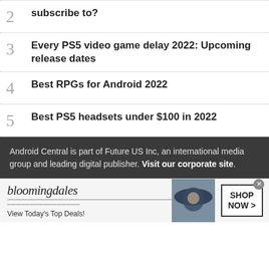2 subscribe to?
3 Every PS5 video game delay 2022: Upcoming release dates
4 Best RPGs for Android 2022
5 Best PS5 headsets under $100 in 2022
Android Central is part of Future US Inc, an international media group and leading digital publisher. Visit our corporate site.
[Figure (other): Bloomingdale's advertisement banner: 'bloomingdales - View Today's Top Deals!' with a woman in a wide-brim hat and a 'SHOP NOW >' button]